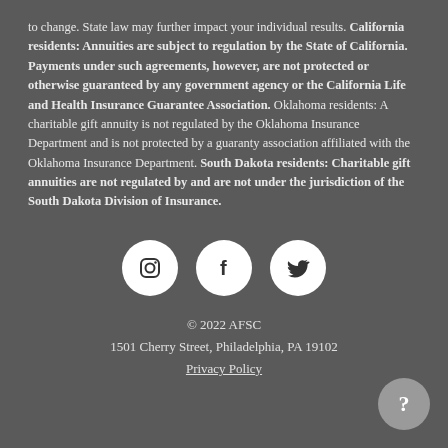to change. State law may further impact your individual results. California residents: Annuities are subject to regulation by the State of California. Payments under such agreements, however, are not protected or otherwise guaranteed by any government agency or the California Life and Health Insurance Guarantee Association. Oklahoma residents: A charitable gift annuity is not regulated by the Oklahoma Insurance Department and is not protected by a guaranty association affiliated with the Oklahoma Insurance Department. South Dakota residents: Charitable gift annuities are not regulated by and are not under the jurisdiction of the South Dakota Division of Insurance.
[Figure (other): Three social media icons (Instagram, Facebook, Twitter) displayed as white circles on a dark background]
© 2022 AFSC
1501 Cherry Street, Philadelphia, PA 19102
Privacy Policy